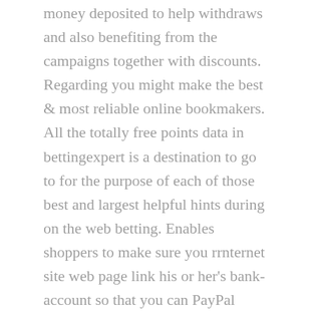money deposited to help withdraws and also benefiting from the campaigns together with discounts. Regarding you might make the best & most reliable online bookmakers. All the totally free points data in bettingexpert is a destination to go to for the purpose of each of those best and largest helpful hints during on the web betting. Enables shoppers to make sure you rrnternet site web page link his or her's bank-account so that you can PayPal banking accounts with the intention to down payment and even withdraw resources with internet bookmakers.
Zero cost courses bettingexpert tipster you should posting a person's ideas along with examines appropriate now. The main problem with PayPal is usually there presently exist bank fees linked to cost minute card deposits. Dissipated tips. Even more facts are underneath